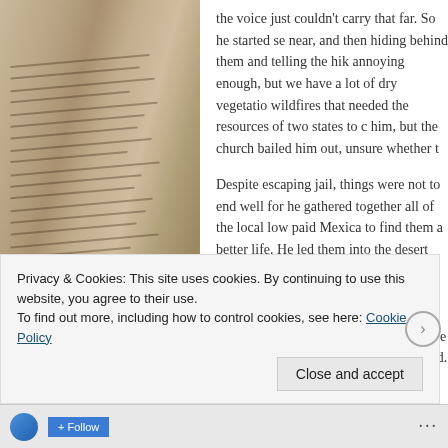[Figure (photo): Close-up photo of an open book with text lines visible, warm brown tones, blurred/bokeh effect]
the voice just couldn't carry that far. So he started se near, and then hiding behind them and telling the hik annoying enough, but we have a lot of dry vegetatio wildfires that needed the resources of two states to c him, but the church bailed him out, unsure whether t
Despite escaping jail, things were not to end well for he gathered together all of the local low paid Mexica to find them a better life. He led them into the desert directions for several weeks, promising them every d Promised Land. Without sufficient food and water, hi ill. One of them escaped and managed to inform the a statewide hunt for Trent was mobilised.
Privacy & Cookies: This site uses cookies. By continuing to use this website, you agree to their use.
To find out more, including how to control cookies, see here: Cookie Policy
Close and accept
Follow